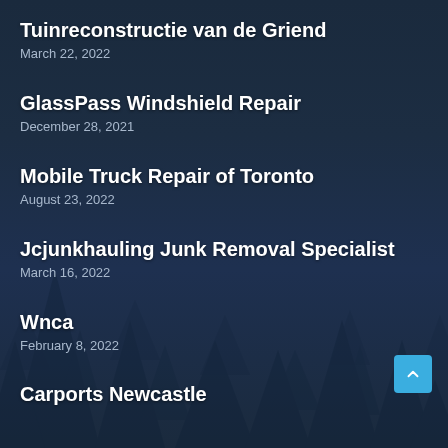Tuinreconstructie van de Griend
March 22, 2022
GlassPass Windshield Repair
December 28, 2021
Mobile Truck Repair of Toronto
August 23, 2022
Jcjunkhauling Junk Removal Specialist
March 16, 2022
Wnca
February 8, 2022
Carports Newcastle